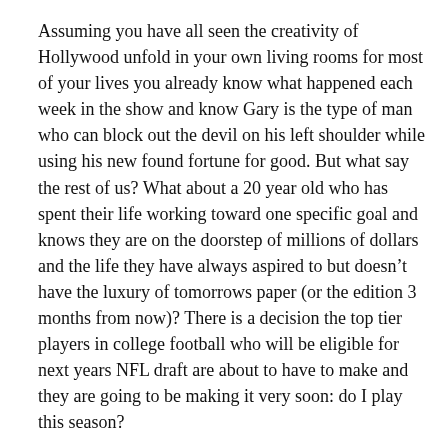Assuming you have all seen the creativity of Hollywood unfold in your own living rooms for most of your lives you already know what happened each week in the show and know Gary is the type of man who can block out the devil on his left shoulder while using his new found fortune for good. But what say the rest of us? What about a 20 year old who has spent their life working toward one specific goal and knows they are on the doorstep of millions of dollars and the life they have always aspired to but doesn't have the luxury of tomorrows paper (or the edition 3 months from now)? There is a decision the top tier players in college football who will be eligible for next years NFL draft are about to have to make and they are going to be making it very soon: do I play this season?
For a select group of college football landscape their stock might be as high as it can go. Playing the season gives them very limited upside with potential career ending downside. We have already seen this take shape more frequently in recent years as the best of the best rested to prepare for the draft (Jadeveon Clowney, Nick Bosa) or nearly had a career derailed